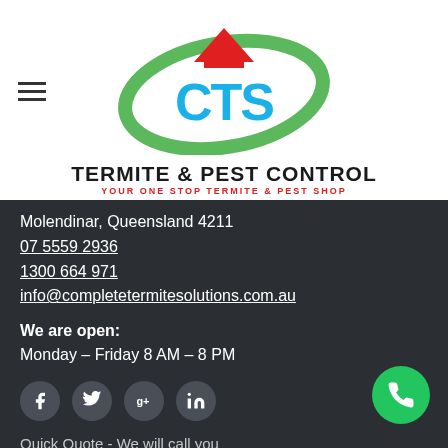[Figure (logo): CTS logo with red roof/house shape, blue CTS letters, green oval swoosh]
TERMITE & PEST CONTROL
YOUR ONE STOP TERMITE & PEST SHOP
Molendinar, Queensland 4211
07 5559 2936
1300 664 971
info@completetermitesolutions.com.au
We are open:
Monday – Friday 8 AM – 8 PM
[Figure (infographic): Social media icons row: Facebook, Twitter, Google+, LinkedIn — dark circular buttons]
[Figure (infographic): Green circular phone call button in bottom right]
Quick Quote - We will call you